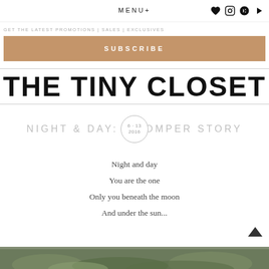MENU+
GET THE LATEST Promotions | Sales | Exclusives
SUBSCRIBE
THE TINY CLOSET
NIGHT & DAY: A ROMPER STORY
6.13.2016
Night and day
You are the one
Only you beneath the moon
And under the sun...
[Figure (photo): Bottom strip showing green foliage/plants image]